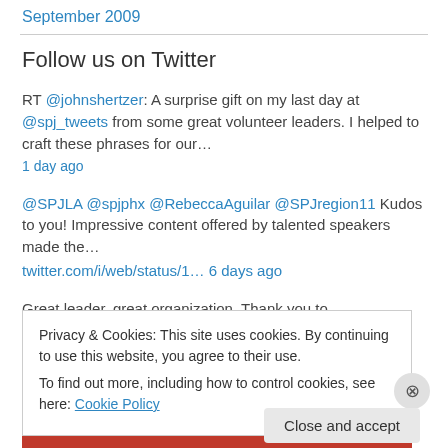September 2009
Follow us on Twitter
RT @johnshertzer: A surprise gift on my last day at @spj_tweets from some great volunteer leaders. I helped to craft these phrases for our… 1 day ago
@SPJLA @spjphx @RebeccaAguilar @SPJregion11 Kudos to you! Impressive content offered by talented speakers made the… twitter.com/i/web/status/1… 6 days ago
Great leader, great organization. Thank you to @RebeccaAguilar for
Privacy & Cookies: This site uses cookies. By continuing to use this website, you agree to their use.
To find out more, including how to control cookies, see here: Cookie Policy
Close and accept